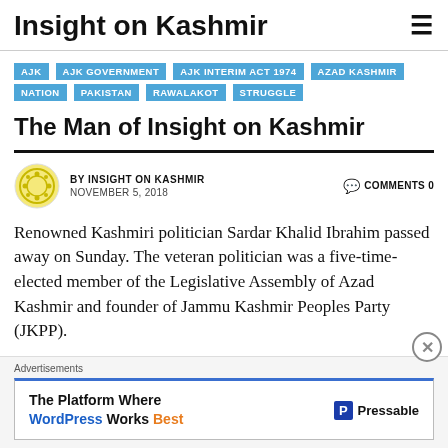Insight on Kashmir
AJK
AJK GOVERNMENT
AJK INTERIM ACT 1974
AZAD KASHMIR
NATION
PAKISTAN
RAWALAKOT
STRUGGLE
The Man of Insight on Kashmir
BY INSIGHT ON KASHMIR   COMMENTS 0
NOVEMBER 5, 2018
Renowned Kashmiri politician Sardar Khalid Ibrahim passed away on Sunday. The veteran politician was a five-time-elected member of the Legislative Assembly of Azad Kashmir and founder of Jammu Kashmir Peoples Party (JKPP).